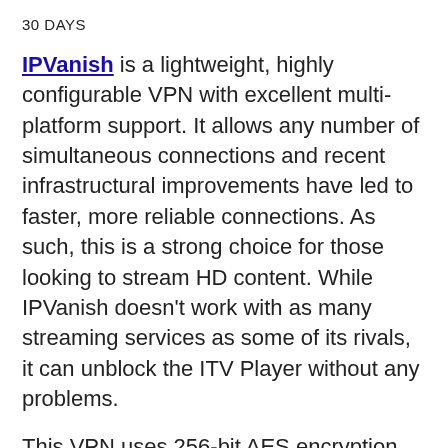30 DAYS
IPVanish is a lightweight, highly configurable VPN with excellent multi-platform support. It allows any number of simultaneous connections and recent infrastructural improvements have led to faster, more reliable connections. As such, this is a strong choice for those looking to stream HD content. While IPVanish doesn’t work with as many streaming services as some of its rivals, it can unblock the ITV Player without any problems.
This VPN uses 256-bit AES encryption and allows users to enable several other security options. These include DNS and IPv6 leak protection, a kill switch, a LAN traffic blocker, and